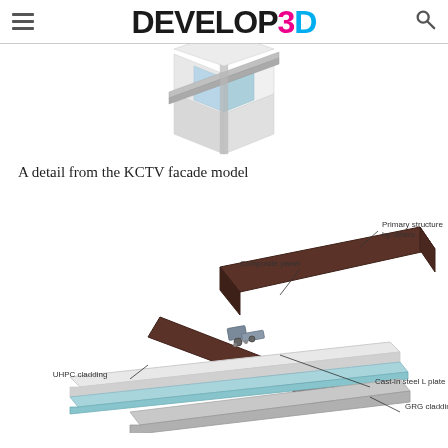DEVELOP3D
[Figure (illustration): 3D render of a building facade panel system showing layered cladding modules - KCTV facade model detail]
A detail from the KCTV facade model
[Figure (engineering-diagram): Exploded engineering diagram of facade connection detail with labels: Primary structure by others, Composite panel, UHPC cladding, Cast-in steel L plate, GRG cladding]